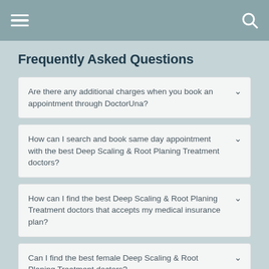Frequently Asked Questions
Are there any additional charges when you book an appointment through DoctorUna?
How can I search and book same day appointment with the best Deep Scaling & Root Planing Treatment doctors?
How can I find the best Deep Scaling & Root Planing Treatment doctors that accepts my medical insurance plan?
Can I find the best female Deep Scaling & Root Planing Treatment doctors?
How can I search for the best Deep Scaling & Root Planing Treatment doctors based on a higher rate?